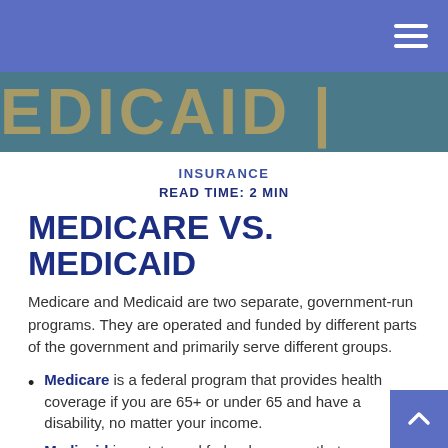[Figure (screenshot): Blue navigation bar with hamburger menu icon (three white horizontal lines) on the right]
[Figure (photo): Banner image showing the word MEDICAID in large golden/tan letters on a dark teal background]
INSURANCE
READ TIME: 2 MIN
MEDICARE VS. MEDICAID
Medicare and Medicaid are two separate, government-run programs. They are operated and funded by different parts of the government and primarily serve different groups.
Medicare is a federal program that provides health coverage if you are 65+ or under 65 and have a disability, no matter your income.
Medicaid is a state and federal program that